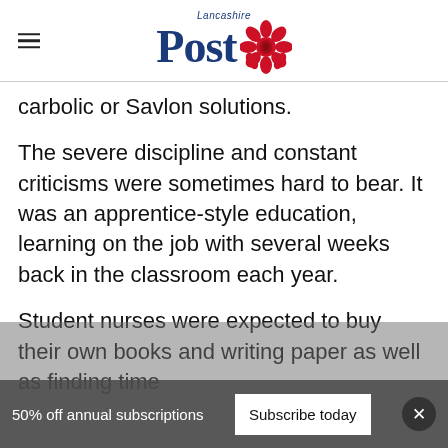Lancashire Post
carbolic or Savlon solutions.
The severe discipline and constant criticisms were sometimes hard to bear. It was an apprentice-style education, learning on the job with several weeks back in the classroom each year.
Student nurses were expected to buy their own books and writing paper as well as finding time
50% off annual subscriptions   Subscribe today